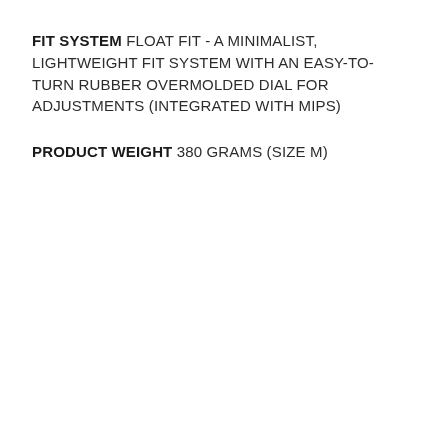FIT SYSTEM FLOAT FIT - A MINIMALIST, LIGHTWEIGHT FIT SYSTEM WITH AN EASY-TO-TURN RUBBER OVERMOLDED DIAL FOR ADJUSTMENTS (INTEGRATED WITH MIPS)
PRODUCT WEIGHT 380 GRAMS (SIZE M)